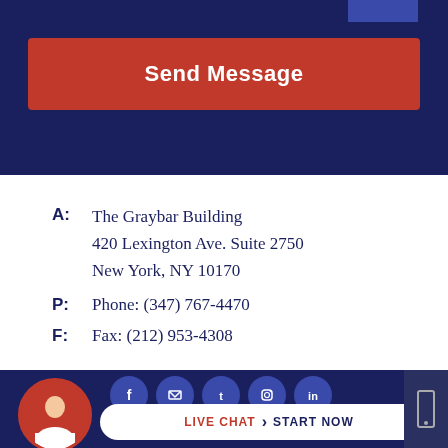Send Message
A: The Graybar Building
420 Lexington Ave. Suite 2750
New York, NY 10170
P: Phone: (347) 767-4470
F: Fax: (212) 953-4308
[Figure (screenshot): Bottom footer bar with social media icons (Facebook, email, Twitter, Instagram, LinkedIn), a circular avatar photo of a woman, and a Live Chat Start Now button on a dark navy background with red accent.]